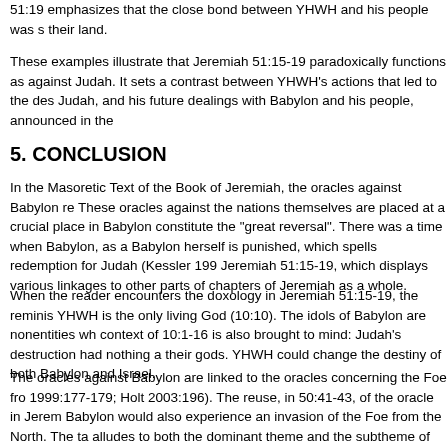51:19 emphasizes that the close bond between YHWH and his people was s their land.
These examples illustrate that Jeremiah 51:15-19 paradoxically functions as against Judah. It sets a contrast between YHWH's actions that led to the des Judah, and his future dealings with Babylon and his people, announced in the
5. CONCLUSION
In the Masoretic Text of the Book of Jeremiah, the oracles against Babylon re These oracles against the nations themselves are placed at a crucial place in Babylon constitute the "great reversal". There was a time when Babylon, as a Babylon herself is punished, which spells redemption for Judah (Kessler 199 Jeremiah 51:15-19, which displays various linkages to other parts of chapters of Jeremiah as a whole.
When the reader encounters the doxology in Jeremiah 51:15-19, the reminis YHWH is the only living God (10:10). The idols of Babylon are nonentities wh context of 10:1-16 is also brought to mind: Judah's destruction had nothing a their gods. YHWH could change the destiny of both Babylon and Israel.
The oracles against Babylon are linked to the oracles concerning the Foe fro 1999:177-179; Holt 2003:196). The reuse, in 50:41-43, of the oracle in Jerem Babylon would also experience an invasion of the Foe from the North. The ta alludes to both the dominant theme and the subtheme of the oracles against oracles concerning the Foe from the North. 12:7-9 stresses that, although Ju abandoned them. On the other hand, 51:19 stresses the close bond between Babylon would be to their advantage. In contrast to 27:5-6, which announces for a specific task, 51:15-19 suggests that YHWH as the creator of all would d